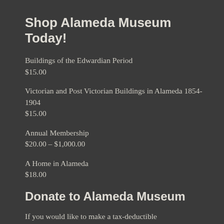Shop Alameda Museum Today!
Buildings of the Edwardian Period
$15.00
Victorian and Post Victorian Buildings in Alameda 1854-1904
$15.00
Annual Membership
$20.00 – $1,000.00
A Home in Alameda
$18.00
Donate to Alameda Museum
If you would like to make a tax-deductible contribution to Alameda Museum, you may